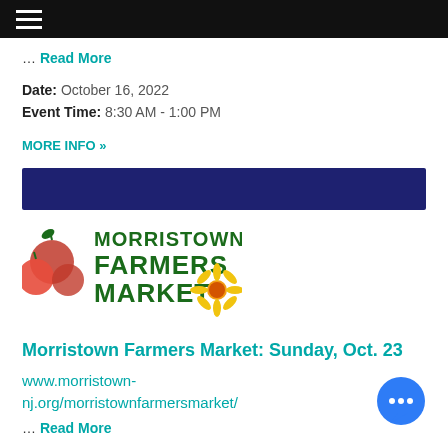Navigation bar with hamburger menu
… Read More
Date: October 16, 2022
Event Time: 8:30 AM - 1:00 PM
MORE INFO »
[Figure (other): Dark navy blue banner/divider bar]
[Figure (logo): Morristown Farmers Market logo with red tomatoes and sunflower illustration, green text reading MORRISTOWN FARMERS MARKET]
Morristown Farmers Market: Sunday, Oct. 23
www.morristown-nj.org/morristownfarmersmarket/
… Read More